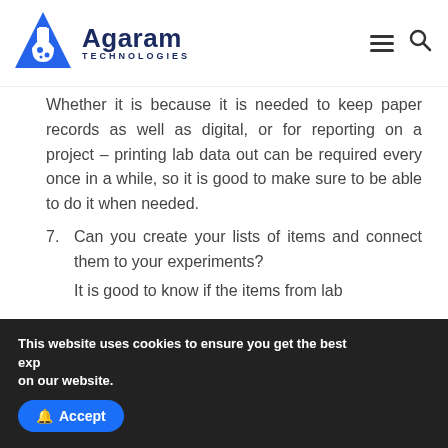[Figure (logo): Agaram Technologies logo with blue triangle/flask icon and company name]
Whether it is because it is needed to keep paper records as well as digital, or for reporting on a project – printing lab data out can be required every once in a while, so it is good to make sure to be able to do it when needed.
7. Can you create your lists of items and connect them to your experiments?
It is good to know if the items from lab
This website uses cookies to ensure you get the best exp on our website.